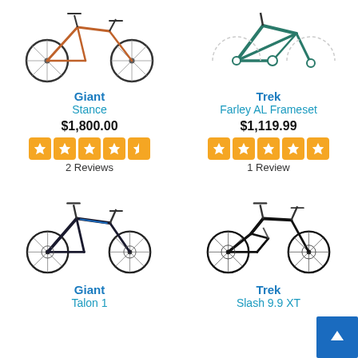[Figure (photo): Giant Stance mountain bike product image]
Giant
Stance
$1,800.00
[Figure (other): 4.5 star rating stars orange]
2 Reviews
[Figure (photo): Trek Farley AL Frameset product image]
Trek
Farley AL Frameset
$1,119.99
[Figure (other): 5 star rating stars orange]
1 Review
[Figure (photo): Giant Talon 1 mountain bike product image]
Giant
Talon 1
[Figure (photo): Trek Slash 9.9 XT mountain bike product image]
Trek
Slash 9.9 XT